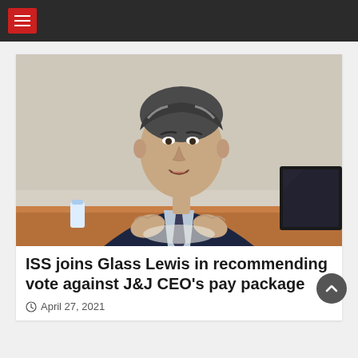Navigation menu header bar
[Figure (photo): A middle-aged man in a dark navy suit with a striped tie, sitting at a table, gesturing with his hands as if speaking. Background is a beige/cream wall. A water bottle and a laptop or monitor are partially visible to the right.]
ISS joins Glass Lewis in recommending vote against J&J CEO's pay package
April 27, 2021